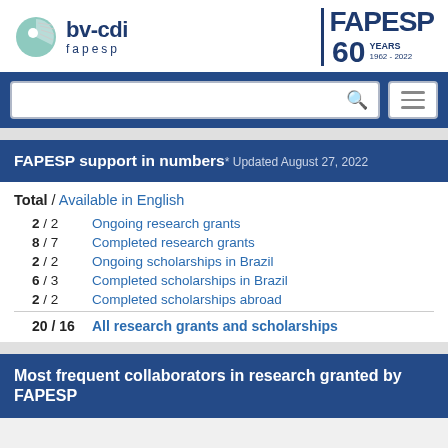[Figure (logo): bv-cdi fapesp logo on the left and FAPESP 60 YEARS 1962-2022 logo on the right]
[Figure (screenshot): Search bar and hamburger menu button on dark blue background]
FAPESP support in numbers* Updated August 27, 2022
Total / Available in English
2 / 2 Ongoing research grants
8 / 7 Completed research grants
2 / 2 Ongoing scholarships in Brazil
6 / 3 Completed scholarships in Brazil
2 / 2 Completed scholarships abroad
20 / 16 All research grants and scholarships
Most frequent collaborators in research granted by FAPESP